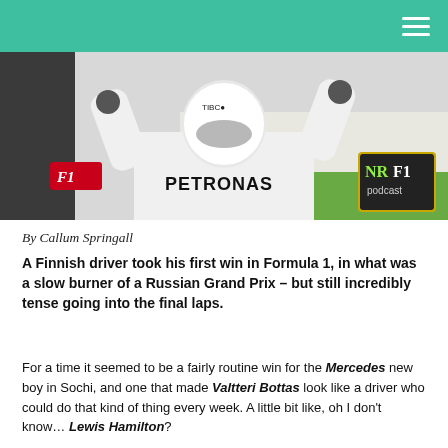NRF1 podcast (navigation header)
[Figure (photo): A Formula 1 driver in a Mercedes-Petronas race suit and white helmet with arms raised in celebration. The F1 logo is visible on the left, and the NRF1 podcast logo appears in the bottom right corner of the image.]
By Callum Springall
A Finnish driver took his first win in Formula 1, in what was a slow burner of a Russian Grand Prix – but still incredibly tense going into the final laps.
For a time it seemed to be a fairly routine win for the Mercedes new boy in Sochi, and one that made Valtteri Bottas look like a driver who could do that kind of thing every week. A little bit like, oh I don't know… Lewis Hamilton?